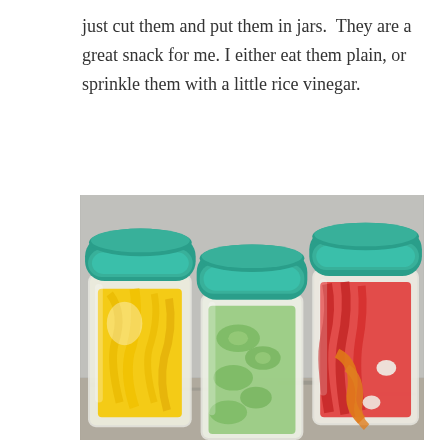just cut them and put them in jars.  They are a great snack for me. I either eat them plain, or sprinkle them with a little rice vinegar.
[Figure (photo): Three glass jars with teal/green lids containing cut vegetables: left jar has yellow bell pepper strips, middle jar has green cucumber slices, right jar has red and orange bell pepper strips. Jars are sitting on a granite countertop.]